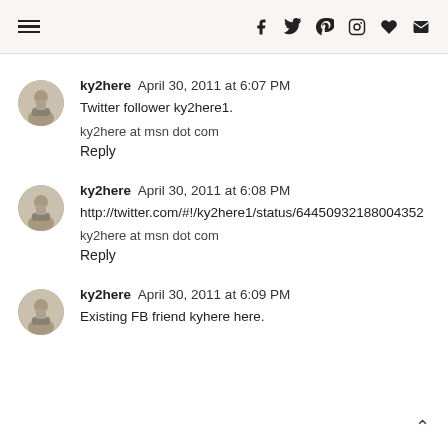≡  f  𝕿  ⊕  ⊙  ♥  ✉
ky2here  April 30, 2011 at 6:07 PM
Twitter follower ky2here1.

ky2here at msn dot com
Reply
ky2here  April 30, 2011 at 6:08 PM
http://twitter.com/#!/ky2here1/status/64450932188004352

ky2here at msn dot com
Reply
ky2here  April 30, 2011 at 6:09 PM
Existing FB friend kyhere here.